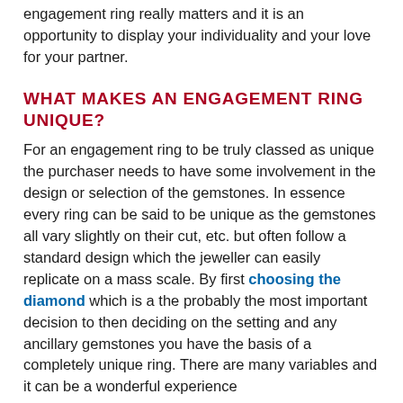engagement ring really matters and it is an opportunity to display your individuality and your love for your partner.
WHAT MAKES AN ENGAGEMENT RING UNIQUE?
For an engagement ring to be truly classed as unique the purchaser needs to have some involvement in the design or selection of the gemstones. In essence every ring can be said to be unique as the gemstones all vary slightly on their cut, etc. but often follow a standard design which the jeweller can easily replicate on a mass scale. By first choosing the diamond which is a the probably the most important decision to then deciding on the setting and any ancillary gemstones you have the basis of a completely unique ring. There are many variables and it can be a wonderful experience